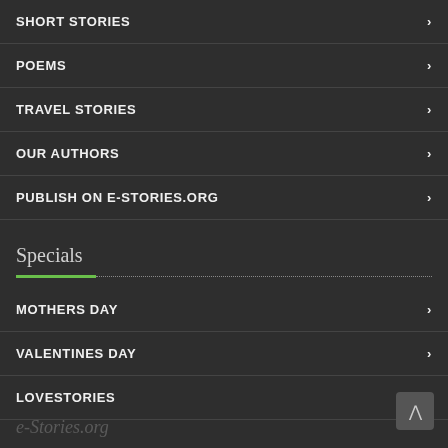SHORT STORIES
POEMS
TRAVEL STORIES
OUR AUTHORS
PUBLISH ON E-STORIES.ORG
Specials
MOTHERS DAY
VALENTINES DAY
LOVESTORIES
e-Stories.org